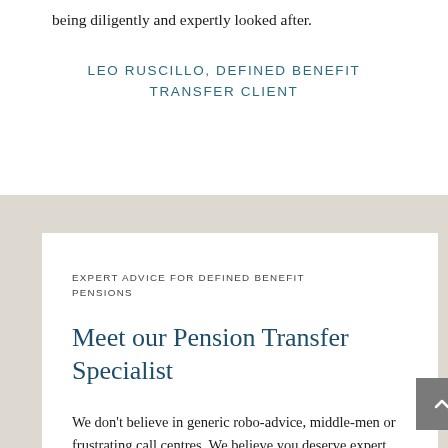being diligently and expertly looked after.
LEO RUSCILLO, DEFINED BENEFIT TRANSFER CLIENT
EXPERT ADVICE FOR DEFINED BENEFIT PENSIONS
Meet our Pension Transfer Specialist
We don't believe in generic robo-advice, middle-men or frustrating call centres. We believe you deserve expert tailored advice to help you make